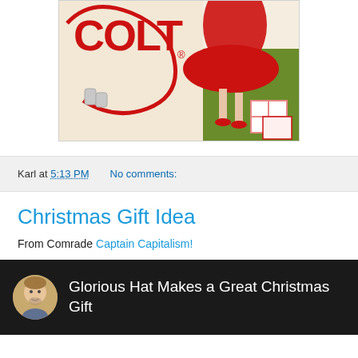[Figure (illustration): Partial view of a vintage Colt advertisement showing a woman in a red dress and red heels with gift boxes, and the Colt logo/text in red at upper left. Background is cream/beige with green at lower right.]
Karl at 5:13 PM    No comments:
Christmas Gift Idea
From Comrade Captain Capitalism!
[Figure (screenshot): Video thumbnail with black background showing a cartoon avatar of a man and white text: Glorious Hat Makes a Great Christmas Gift]